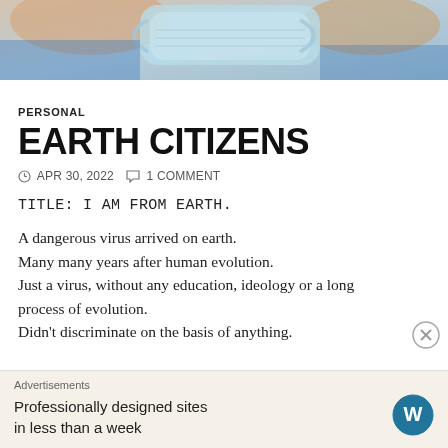[Figure (photo): A person holding a medical face mask, close-up photo used as article banner]
PERSONAL
EARTH CITIZENS
APR 30, 2022   1 COMMENT
TITLE: I AM FROM EARTH.
A dangerous virus arrived on earth.
Many many years after human evolution.
Just a virus, without any education, ideology or a long process of evolution.
Didn't discriminate on the basis of anything.
Advertisements
Professionally designed sites in less than a week